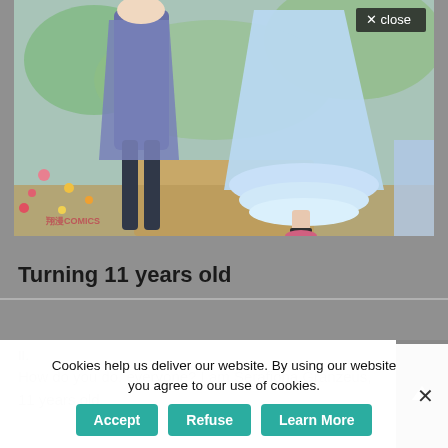[Figure (illustration): Manga/anime style illustration showing two characters (a male in dark outfit and a female in light blue dress) walking outdoors among flowers and greenery. A small watermark/logo appears in the lower left of the image. A 'close' button with an X appears in the top-right corner.]
Turning 11 years old
How do you do, everyone? I am Serafiona Granzeus, 11 years old.
Cookies help us deliver our website. By using our website you agree to our use of cookies.